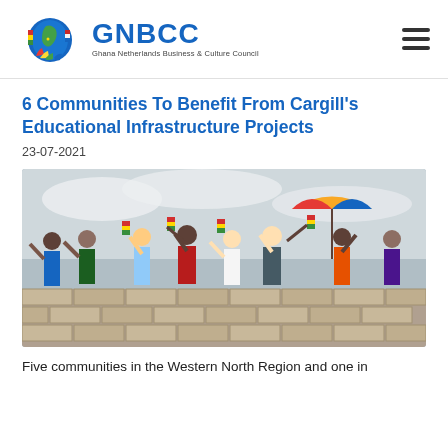[Figure (logo): GNBCC logo with Ghana and Netherlands flag-colored globe graphic on the left, and 'GNBCC' in large blue bold text with subtitle 'Ghana Netherlands Business & Culture Council' beneath it. A hamburger menu icon is on the right.]
6 Communities To Benefit From Cargill's Educational Infrastructure Projects
23-07-2021
[Figure (photo): Group of people standing behind a low brick wall, raising their hands and waving small Ghanaian flags. A colorful umbrella is visible in the background. The setting appears to be an outdoor construction or community event in Ghana.]
Five communities in the Western North Region and one in